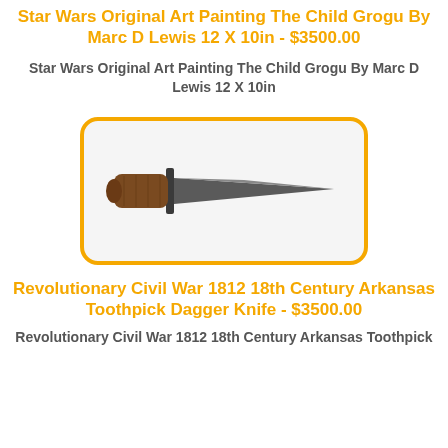Star Wars Original Art Painting The Child Grogu By Marc D Lewis 12 X 10in - $3500.00
Star Wars Original Art Painting The Child Grogu By Marc D Lewis 12 X 10in
[Figure (photo): A dagger knife with a wooden handle and long narrow blade, displayed horizontally inside a rounded yellow-bordered box on a light gray background.]
Revolutionary Civil War 1812 18th Century Arkansas Toothpick Dagger Knife - $3500.00
Revolutionary Civil War 1812 18th Century Arkansas Toothpick